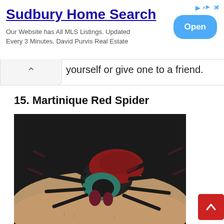[Figure (screenshot): Advertisement banner for Sudbury Home Search with title, description text, and blue Open button]
Sudbury Home Search
Our Website has All MLS Listings. Updated Every 3 Minutes. David Purvis Real Estate
yourself or give one to a friend.
15. Martinique Red Spider
[Figure (photo): Photo of a large colorful tarantula (Martinique Red Spider) with red, teal, and black coloring, sitting on a person's arm/wrist]